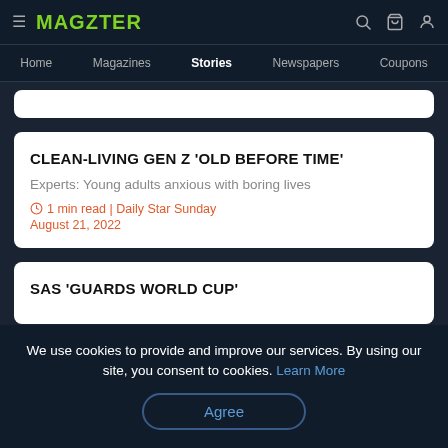MAGZTER — Home | Magazines | Stories | Newspapers | Coupons
CLEAN-LIVING GEN Z 'OLD BEFORE TIME'
Experts: Young adults anxious with boring lives
1 min read | Daily Star Sunday
August 21, 2022
SAS 'GUARDS WORLD CUP'
We use cookies to provide and improve our services. By using our site, you consent to cookies. Learn More
Agree